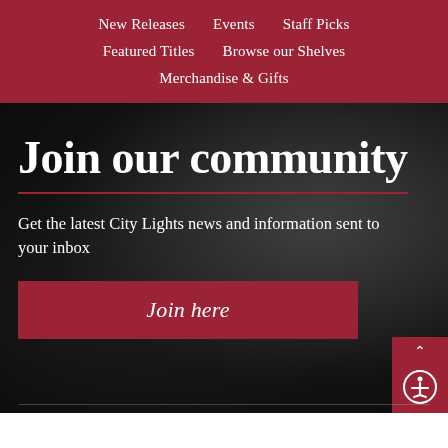New Releases | Events | Staff Picks | Featured Titles | Browse our Shelves | Merchandise & Gifts
Join our community
Get the latest City Lights news and information sent to your inbox
Join here